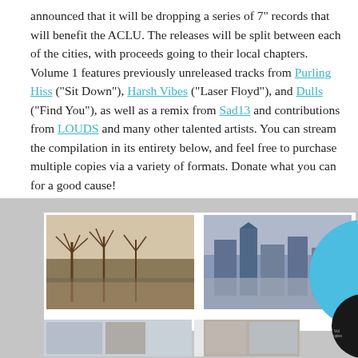announced that it will be dropping a series of 7" records that will benefit the ACLU. The releases will be split between each of the cities, with proceeds going to their local chapters. Volume 1 features previously unreleased tracks from Purling Hiss ("Sit Down"), Harsh Vibes ("Laser Floyd"), and Dulls ("Find You"), as well as a remix from Sad13 and contributions from LOUDS and many other talented artists. You can stream the compilation in its entirety below, and feel free to purchase multiple copies via a variety of formats. Donate what you can for a good cause!
[Figure (photo): Album artwork showing photos of a park with bare trees and a cityscape with buildings, alongside a blue vinyl record partially visible on the right edge. Background is light gray.]